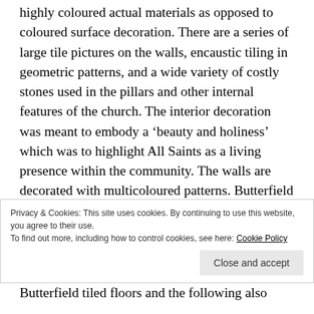highly coloured actual materials as opposed to coloured surface decoration. There are a series of large tile pictures on the walls, encaustic tiling in geometric patterns, and a wide variety of costly stones used in the pillars and other internal features of the church. The interior decoration was meant to embody a ‘beauty and holiness’ which was to highlight All Saints as a living presence within the community. The walls are decorated with multicoloured patterns. Butterfield juxtaposed differing textures against one another. The floor and lower walls of the church are tiled in purple,
Privacy & Cookies: This site uses cookies. By continuing to use this website, you agree to their use.
To find out more, including how to control cookies, see here: Cookie Policy
Close and accept
Butterfield tiled floors and the following also...